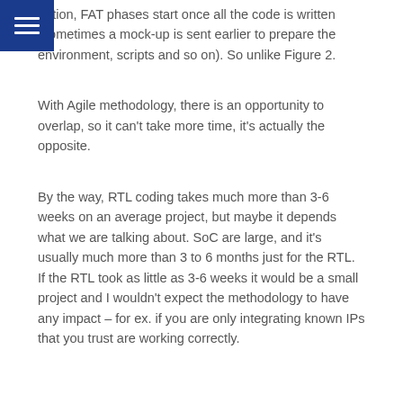uation, FAT phases start once all the code is written (sometimes a mock-up is sent earlier to prepare the environment, scripts and so on). So unlike Figure 2.
With Agile methodology, there is an opportunity to overlap, so it can't take more time, it's actually the opposite.
By the way, RTL coding takes much more than 3-6 weeks on an average project, but maybe it depends what we are talking about. SoC are large, and it's usually much more than 3 to 6 months just for the RTL. If the RTL took as little as 3-6 weeks it would be a small project and I wouldn't expect the methodology to have any impact – for ex. if you are only integrating known IPs that you trust are working correctly.